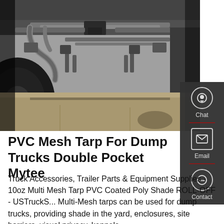[Figure (photo): Undercarriage view of a dump truck or heavy vehicle, showing axle, exhaust pipes, hitch, and frame components from below. Concrete floor visible in background.]
PVC Mesh Tarp For Dump Trucks Double Pocket Mytee
Truck Accessories, Trailer Parts & Equipment Supplies - 10oz Multi Mesh Tarp PVC Coated Poly Shade ROLL-OFF - USTruckS... Multi-Mesh tarps can be used for dump trucks, providing shade in the yard, enclosures, site barriers, visual privacy, kennels, construction sites and so on they are 50% Sha...